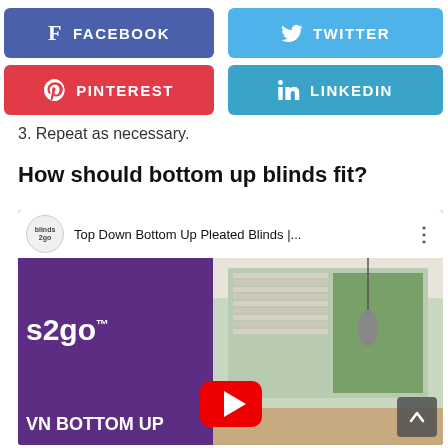[Figure (infographic): Social media share buttons: Facebook (blue), Twitter (light blue), Pinterest (red), LinkedIn (blue)]
3. Repeat as necessary.
How should bottom up blinds fit?
[Figure (screenshot): YouTube video embed thumbnail for 'Top Down Bottom Up Pleated Blinds |...' by blinds2go channel, showing purple branded panel on left with 's2go' logo and 'WN BOTTOM UP' text, right side shows room with pleated blinds on windows, red YouTube play button overlay visible]